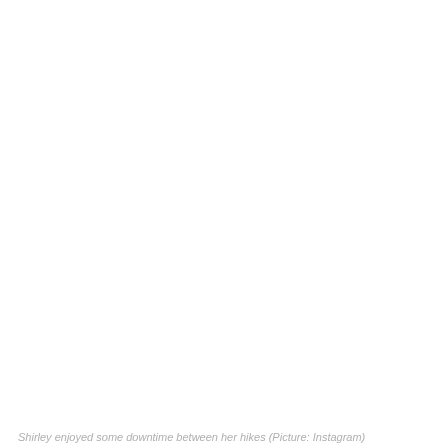[Figure (photo): A mostly white/blank image area occupying the upper portion of the page, representing a photo placeholder or a very light photograph.]
Shirley enjoyed some downtime between her hikes (Picture: Instagram)